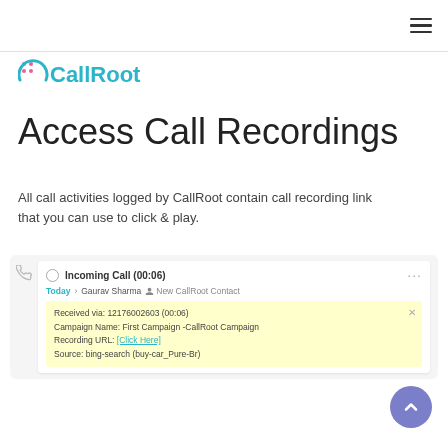CallRoot — navigation header with hamburger menu
[Figure (logo): CallRoot logo with teal circular icon and teal text 'CallRoot']
Access Call Recordings
All call activities logged by CallRoot contain call recording link that you can use to click & play.
[Figure (screenshot): Screenshot of a CRM call log card showing: Incoming Call (00:06), Today - Gaurav Sharma - New CallRoot Contact, Received via: 12176002603 (00:06), Campaign Name: First Campaign -CallRoot Campaign, Recording URL: [Click Here], Source: bing-search (buy-car_Pure-Br)]